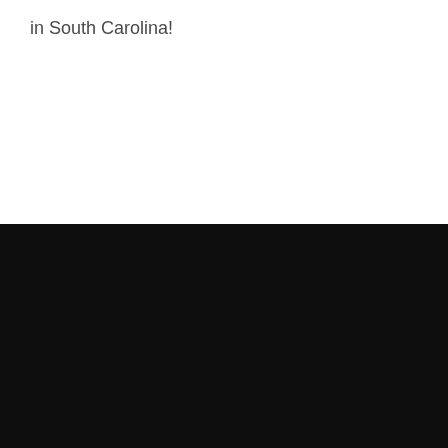in South Carolina!
Home | Real Estate Guide | Real Estate News | Real Estate Agents | Real Estate Appraisal | Mortgages | Links | Write for Us | About Us
© Copyright by eRealEstatePro.com. All rights reserved.